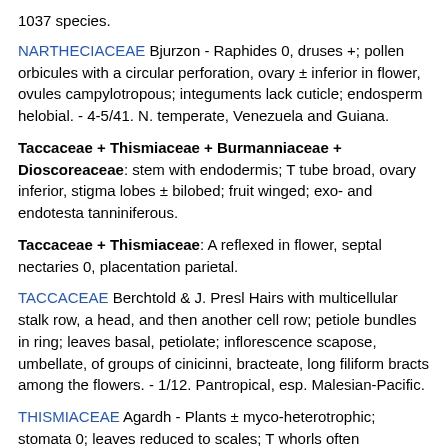1037 species.
NARTHECIACEAE Bjurzon - Raphides 0, druses +; pollen orbicules with a circular perforation, ovary ± inferior in flower, ovules campylotropous; integuments lack cuticle; endosperm helobial. - 4-5/41. N. temperate, Venezuela and Guiana.
Taccaceae + Thismiaceae + Burmanniaceae + Dioscoreaceae: stem with endodermis; T tube broad, ovary inferior, stigma lobes ± bilobed; fruit winged; exo- and endotesta tanniniferous.
Taccaceae + Thismiaceae: A reflexed in flower, septal nectaries 0, placentation parietal.
TACCACEAE Berchtold & J. Presl Hairs with multicellular stalk row, a head, and then another cell row; petiole bundles in ring; leaves basal, petiolate; inflorescence scapose, umbellate, of groups of cinicinni, bracteate, long filiform bracts among the flowers. - 1/12. Pantropical, esp. Malesian-Pacific.
THISMIACEAE Agardh - Plants ± myco-heterotrophic; stomata 0; leaves reduced to scales; T whorls often differentiated, both well developed, A with intrastaminal lobes, connate postgenitally into a ring, pollen porate, ovules tenuinucellate, style connate early in ontogeny; fruit irregularly dehiscent. P usually circumscissilely dehiscent. - 4/31. Widely scattered.